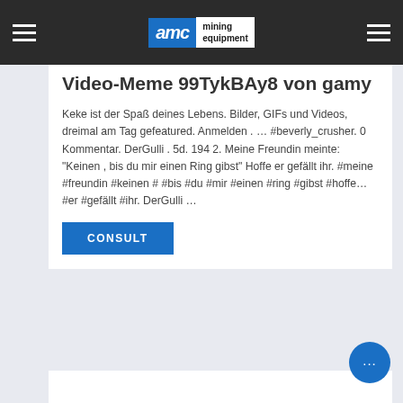AMC mining equipment
Video-Meme 99TykBAy8 von gamy
Keke ist der Spaß deines Lebens. Bilder, GIFs und Videos, dreimal am Tag gefeatured. Anmelden . … #beverly_crusher. 0 Kommentar. DerGulli . 5d. 194 2. Meine Freundin meinte: "Keinen , bis du mir einen Ring gibst" Hoffe er gefällt ihr. #meine #freundin #keinen # #bis #du #mir #einen #ring #gibst #hoffe… #er #gefällt #ihr. DerGulli …
CONSULT